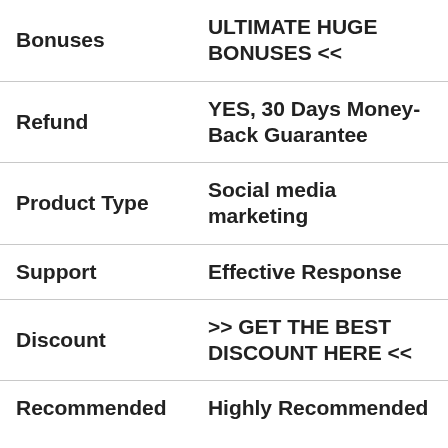|  |  |
| --- | --- |
| Bonuses | ULTIMATE HUGE BONUSES << |
| Refund | YES, 30 Days Money-Back Guarantee |
| Product Type | Social media marketing |
| Support | Effective Response |
| Discount | >> GET THE BEST DISCOUNT HERE << |
| Recommended | Highly Recommended |